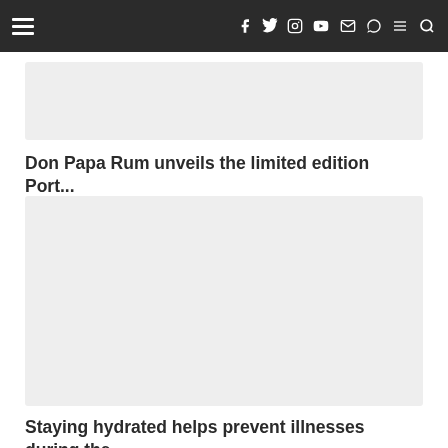[navigation bar with hamburger menu and social icons: f, twitter, instagram, youtube, mail, viber, menu, search]
[Figure (photo): Gray placeholder image (top card image)]
Don Papa Rum unveils the limited edition Port...
[Figure (photo): Gray placeholder image (main article image)]
Staying hydrated helps prevent illnesses during the